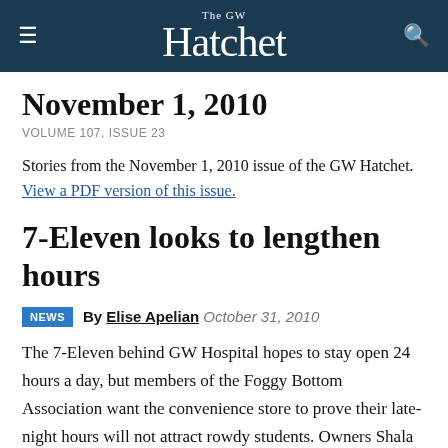The GW Hatchet
November 1, 2010
VOLUME 107, ISSUE 23
Stories from the November 1, 2010 issue of the GW Hatchet. View a PDF version of this issue.
7-Eleven looks to lengthen hours
NEWS  By Elise Apelian  October 31, 2010
The 7-Eleven behind GW Hospital hopes to stay open 24 hours a day, but members of the Foggy Bottom Association want the convenience store to prove their late-night hours will not attract rowdy students. Owners Shala and Sam